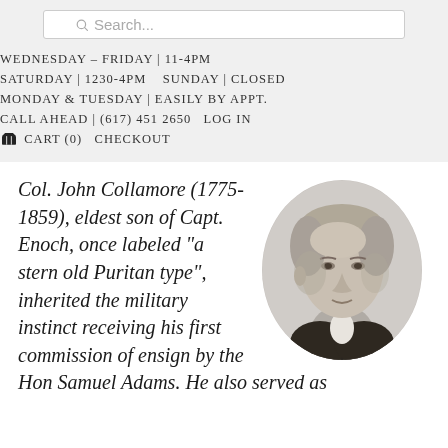Search...
WEDNESDAY - FRIDAY | 11-4PM
SATURDAY | 1230-4PM    SUNDAY | CLOSED
MONDAY & TUESDAY | EASILY BY APPT.
CALL AHEAD | (617) 451 2650    LOG IN
🛒 CART (0)    CHECKOUT
Col. John Collamore (1775-1859), eldest son of Capt. Enoch, once labeled "a stern old Puritan type", inherited the military instinct receiving his first commission of ensign by the Hon Samuel Adams. He also served as
[Figure (illustration): Oval portrait engraving of Col. John Collamore, showing a middle-aged man in formal 19th-century attire, facing slightly left, rendered in grayscale stipple engraving style.]